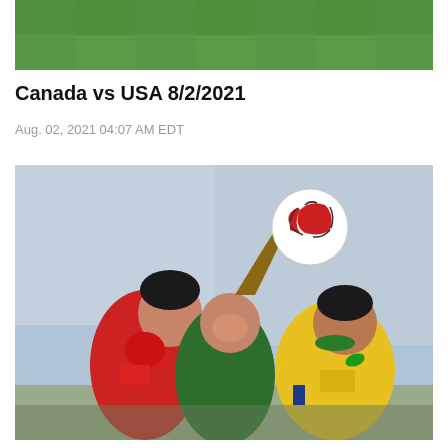[Figure (photo): Top portion of a green grass soccer field, cropped view from above]
Canada vs USA 8/2/2021
Aug. 02, 2021 04:07 AM EDT
[Figure (photo): Three female soccer players jumping for a header during a match. One player in a red Canada jersey (number 6), one in yellow Brazil jersey (number 10, Marta), and one in yellow Brazil jersey. A soccer ball with red design is at the top of the frame. Stadium seating visible in background.]